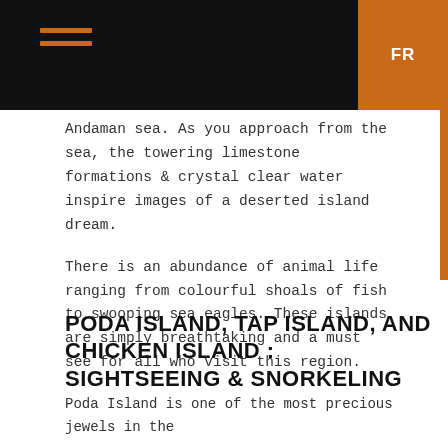FR
Andaman sea. As you approach from the sea, the towering limestone formations & crystal clear water inspire images of a deserted island dream.
There is an abundance of animal life ranging from colourful shoals of fish to swooping sea eagles. These islands are simply breathtaking and a must see for all who visit this region.
PODA ISLAND, TAP ISLAND, AND CHICKEN ISLAND : SIGHTSEEING & SNORKELING
Poda Island is one of the most precious jewels in the